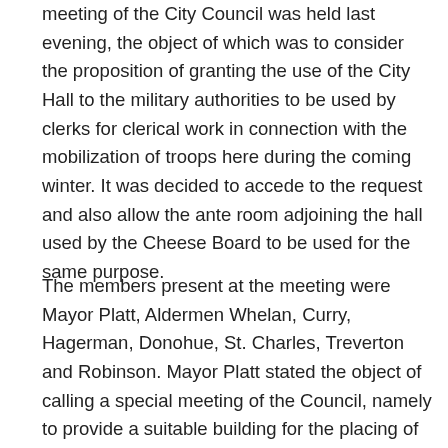meeting of the City Council was held last evening, the object of which was to consider the proposition of granting the use of the City Hall to the military authorities to be used by clerks for clerical work in connection with the mobilization of troops here during the coming winter. It was decided to accede to the request and also allow the ante room adjoining the hall used by the Cheese Board to be used for the same purpose.
The members present at the meeting were Mayor Platt, Aldermen Whelan, Curry, Hagerman, Donohue, St. Charles, Treverton and Robinson. Mayor Platt stated the object of calling a special meeting of the Council, namely to provide a suitable building for the placing of 50 or 60 clerks